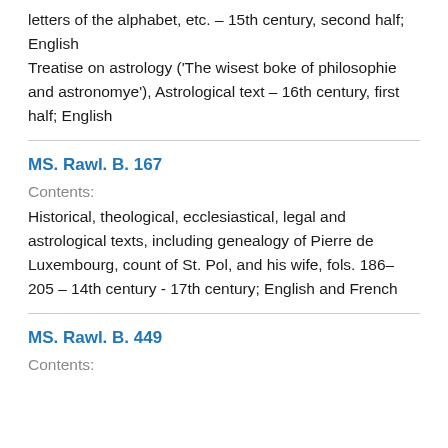letters of the alphabet, etc. – 15th century, second half; English
Treatise on astrology ('The wisest boke of philosophie and astronomye'), Astrological text – 16th century, first half; English
MS. Rawl. B. 167
Contents:
Historical, theological, ecclesiastical, legal and astrological texts, including genealogy of Pierre de Luxembourg, count of St. Pol, and his wife, fols. 186–205 – 14th century - 17th century; English and French
MS. Rawl. B. 449
Contents: